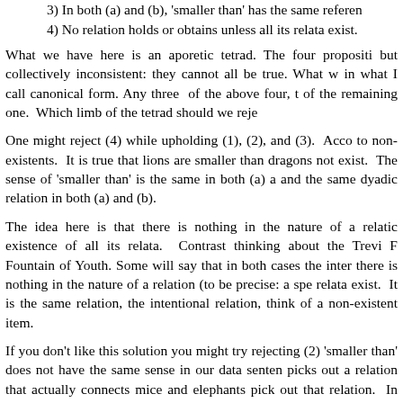3) In both (a) and (b), 'smaller than' has the same referent
4) No relation holds or obtains unless all its relata exist.
What we have here is an aporetic tetrad. The four propositi but collectively inconsistent: they cannot all be true. What w in what I call canonical form. Any three of the above four, t of the remaining one. Which limb of the tetrad should we reje
One might reject (4) while upholding (1), (2), and (3). Acco to non-existents. It is true that lions are smaller than dragons not exist. The sense of 'smaller than' is the same in both (a) a and the same dyadic relation in both (a) and (b).
The idea here is that there is nothing in the nature of a relati existence of all its relata. Contrast thinking about the Trevi F Fountain of Youth. Some will say that in both cases the inter there is nothing in the nature of a relation (to be precise: a spe relata exist. It is the same relation, the intentional relation, think of a non-existent item.
If you don't like this solution you might try rejecting (2) 'smaller than' does not have the same sense in our data senten picks out a relation that actually connects mice and elephants pick out that relation. In (a), 'is smaller than' has the sense